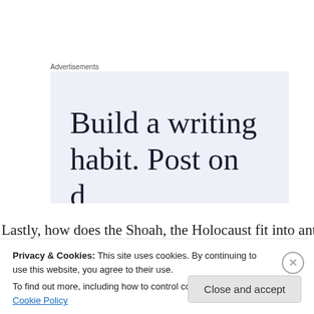Advertisements
[Figure (other): Advertisement banner with text 'Build a writing habit. Post on' on a light blue/grey background, text is partially cut off at the bottom]
Lastly, how does the Shoah, the Holocaust fit into anti-
Privacy & Cookies: This site uses cookies. By continuing to use this website, you agree to their use.
To find out more, including how to control cookies, see here: Cookie Policy
Close and accept